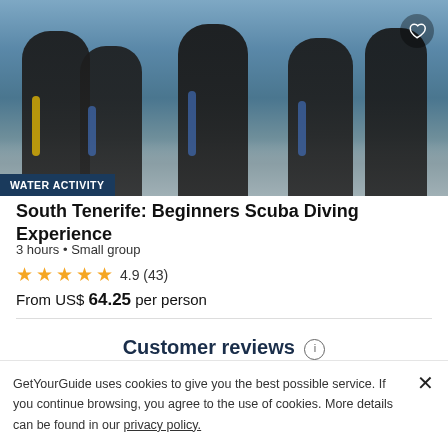[Figure (photo): Group of five people in scuba diving gear with tanks and wetsuits standing on a rocky shore near water.]
WATER ACTIVITY
South Tenerife: Beginners Scuba Diving Experience
3 hours • Small group
4.9 (43)
From US$ 64.25 per person
Customer reviews
4.5/5
GetYourGuide uses cookies to give you the best possible service. If you continue browsing, you agree to the use of cookies. More details can be found in our privacy policy.